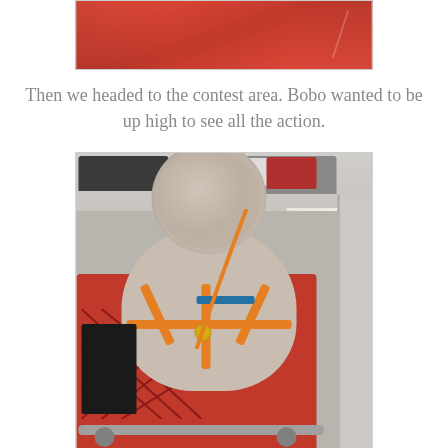[Figure (photo): Partial photo showing a red background/clothing, cropped at top of page]
Then we headed to the contest area. Bobo wanted to be up high to see all the action.
[Figure (photo): Photo of a small fluffy gray/beige poodle-type dog sitting in a red shopping cart, wearing an orange harness with a yellow tag, viewed from behind, with a parking lot visible in the background]